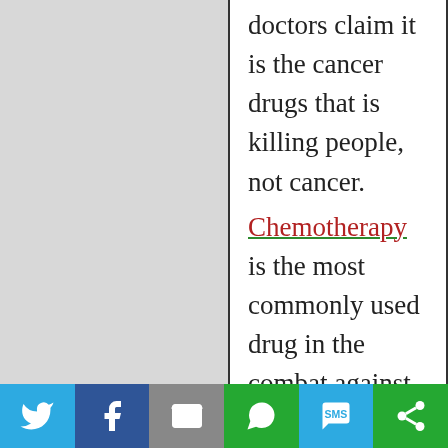doctors claim it is the cancer drugs that is killing people, not cancer.

Chemotherapy is the most commonly used drug in the combat against cancer. It is extremely poisonous and the side effects are often the worst part of fighting cancer. Many people believe chemotherapy to just be a simple method of business. In fact, cancer is a huge business in America and lots of people are getting rich from it. it's a $200 billion a year business. Yet 98
Share buttons: Twitter, Facebook, Email, WhatsApp, SMS, Other